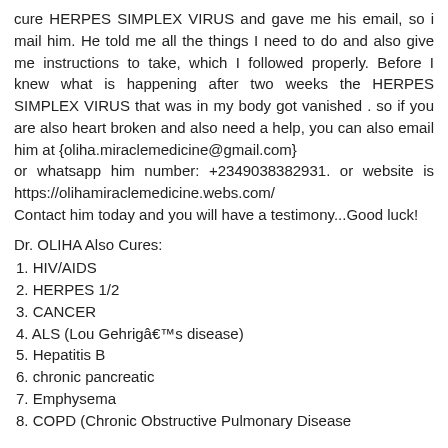cure HERPES SIMPLEX VIRUS and gave me his email, so i mail him. He told me all the things I need to do and also give me instructions to take, which I followed properly. Before I knew what is happening after two weeks the HERPES SIMPLEX VIRUS that was in my body got vanished . so if you are also heart broken and also need a help, you can also email him at {oliha.miraclemedicine@gmail.com}
or whatsapp him number: +2349038382931. or website is https://olihamiraclemedicine.webs.com/
Contact him today and you will have a testimony...Good luck!
Dr. OLIHA Also Cures:
1. HIV/AIDS
2. HERPES 1/2
3. CANCER
4. ALS (Lou Gehrigâ€™s disease)
5. Hepatitis B
6. chronic pancreatic
7. Emphysema
8. COPD (Chronic Obstructive Pulmonary Disease